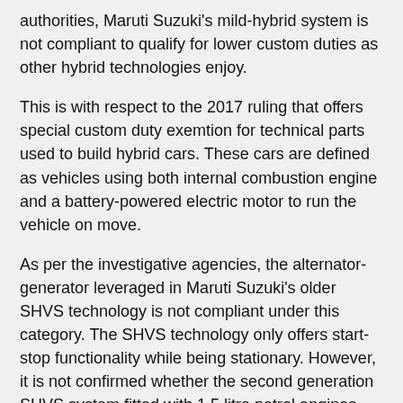authorities, Maruti Suzuki's mild-hybrid system is not compliant to qualify for lower custom duties as other hybrid technologies enjoy.
This is with respect to the 2017 ruling that offers special custom duty exemtion for technical parts used to build hybrid cars. These cars are defined as vehicles using both internal combustion engine and a battery-powered electric motor to run the vehicle on move.
As per the investigative agencies, the alternator-generator leveraged in Maruti Suzuki's older SHVS technology is not compliant under this category. The SHVS technology only offers start-stop functionality while being stationary. However, it is not confirmed whether the second generation SHVS system fitted with 1.5 litre petrol engines are also disputed as Maruti Suzuki claims that the new units also offer brake